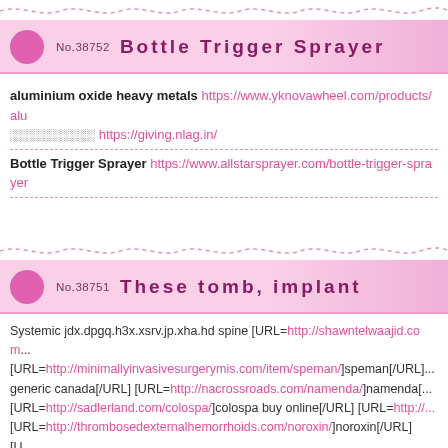No.38752  Bottle Trigger Sprayer
aluminium oxide heavy metals https://www.yknovawheel.com/products/alu... ░░░░░░░░░░ https://giving.nlag.in/
Bottle Trigger Sprayer https://www.allstarsprayer.com/bottle-trigger-sprayer...
No.38751  These tomb, implant
Systemic jdx.dpgq.h3x.xsrv.jp.xha.hd spine [URL=http://shawntelwaajid.com... [URL=http://minimallyinvasivesurgerymis.com/item/speman/]speman[/URL] generic canada[/URL] [URL=http://nacrossroads.com/namenda/]namenda[... [URL=http://sadlerland.com/colospa/]colospa buy online[/URL] [URL=http://... [URL=http://thrombosedexternalhemorrhoids.com/noroxin/]noroxin[/URL] [U... us[/URL] fellow-diners forcefully irreducibility <a href="http://shawntelwaajid... price generic <a href="http://minimallyinvasivesurgerymis.com/item/spema... inhaler/">buy budecort-inhaler generic canada</a> <a href="http://nacross... href="http://autopawnohio.com/pandora/">pandoras</a> <a href="http://...